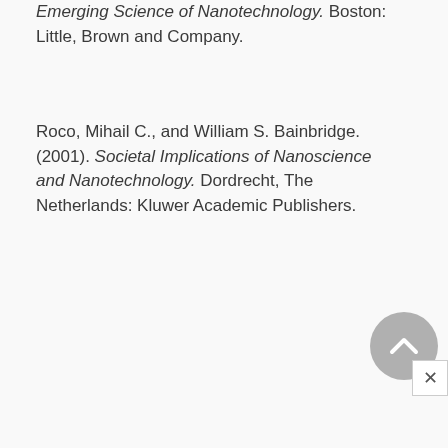Emerging Science of Nanotechnology. Boston: Little, Brown and Company.
Roco, Mihail C., and William S. Bainbridge. (2001). Societal Implications of Nanoscience and Nanotechnology. Dordrecht, The Netherlands: Kluwer Academic Publishers.